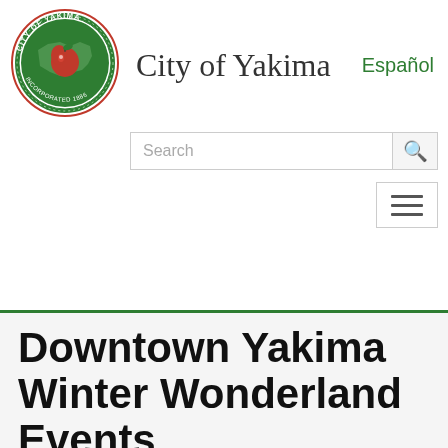[Figure (logo): City of Yakima official seal — circular logo with green border, red apple, Washington state outline, text 'CITY OF YAKIMA' and 'INCORPORATED 1886']
City of Yakima
Español
Downtown Yakima Winter Wonderland Events
By Randy Beehler
November 24, 2015
The calendar is full of family fun holiday festivities this season in Downtown Yakima.
On Friday, November 27th Yakima's Community Christmas Tree will serve as the centerpiece during a free Light Up the Plaza celebration at Millennium Plaza. The event will